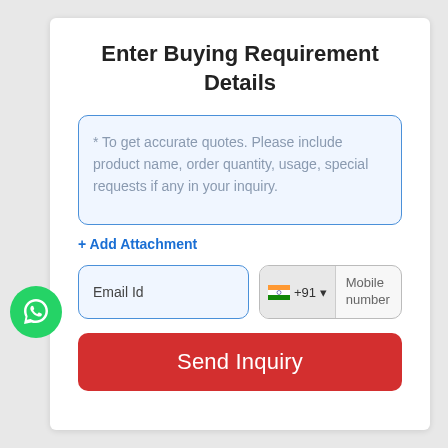Enter Buying Requirement Details
* To get accurate quotes. Please include product name, order quantity, usage, special requests if any in your inquiry.
+ Add Attachment
Email Id
+91 - Mobile number
Send Inquiry